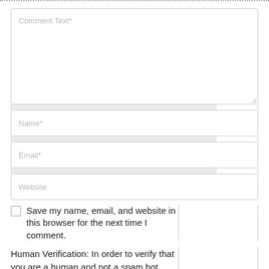[Figure (screenshot): Comment form with textarea for Comment Text, input fields for Name, Email, Website, a checkbox to save info, and a human verification notice.]
Comment Text*
Name*
Email*
Website
Save my name, email, and website in this browser for the next time I comment.
Human Verification: In order to verify that you are a human and not a spam bot, please enter the answer into the following box below based on the instructions contained in the graphic.